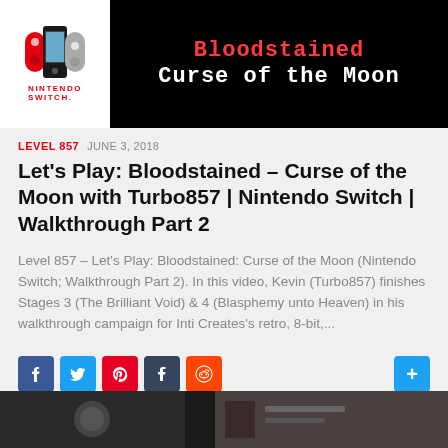[Figure (screenshot): Nintendo Switch logo on white background beside black banner reading 'Bloodstained Curse of the Moon' in red and white monospace text]
LEVEL 857  JUNE 3, 2018
Let's Play: Bloodstained – Curse of the Moon with Turbo857 | Nintendo Switch | Walkthrough Part 2
Level 857 – Let's Play: Bloodstained: Curse of the Moon (Nintendo Switch; Walkthrough Part 2). In this video, Kevin (Turbo857) finishes Stages 3 (The Brilliant Void) & 4 (Blasphemy unto Heaven) in his walkthrough campaign for Inti Creates's retro, 8-bit,...
[Figure (infographic): Social media share buttons: Facebook, Twitter, Pinterest, Tumblr, Reddit, and a plus/more button]
[Figure (screenshot): Bottom thumbnail strip showing partial video thumbnails]